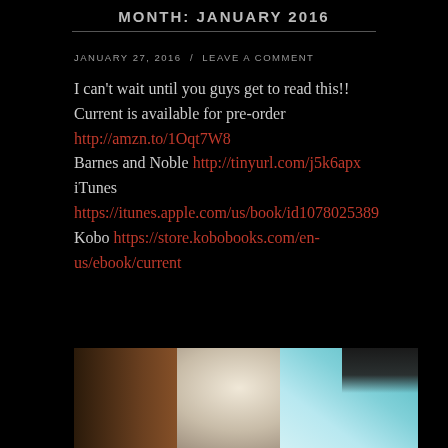MONTH: JANUARY 2016
JANUARY 27, 2016  /  LEAVE A COMMENT
I can't wait until you guys get to read this!! Current is available for pre-order http://amzn.to/1Oqt7W8 Barnes and Noble http://tinyurl.com/j5k6apx iTunes https://itunes.apple.com/us/book/id1078025389 Kobo https://store.kobobooks.com/en-us/ebook/current
[Figure (photo): Partial photo showing a person with long hair against a bright sky background with blue tones]